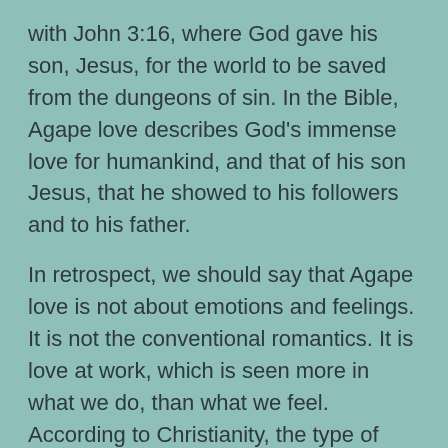with John 3:16, where God gave his son, Jesus, for the world to be saved from the dungeons of sin. In the Bible, Agape love describes God's immense love for humankind, and that of his son Jesus, that he showed to his followers and to his father.
In retrospect, we should say that Agape love is not about emotions and feelings. It is not the conventional romantics. It is love at work, which is seen more in what we do, than what we feel. According to Christianity, the type of love that God manifests transcends the bias of human tendencies. God loves even those we